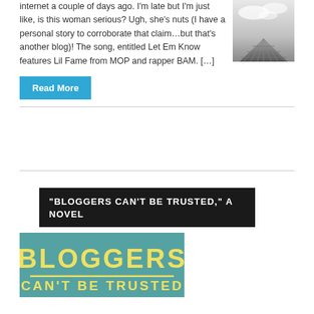internet a couple of days ago. I'm late but I'm just like, is this woman serious? Ugh, she's nuts (I have a personal story to corroborate that claim…but that's another blog)! The song, entitled Let Em Know features Lil Fame from MOP and rapper BAM. […]
[Figure (photo): Black and white photo of a dock/pier receding into the distance under a cloudy sky]
Read More
"BLOGGERS CAN'T BE TRUSTED," A NOVEL
[Figure (photo): Book cover image showing 'BLOGGERS CAN'T BE TRUSTED' text in yellow on a teal background]